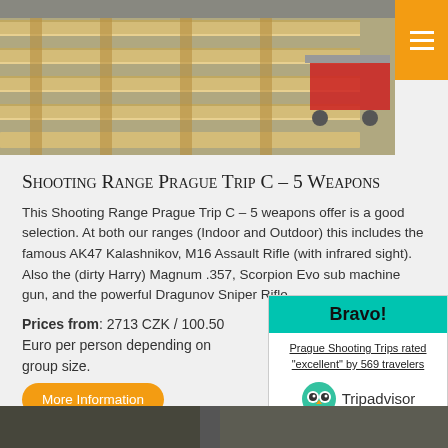[Figure (photo): Close-up photo of wooden pallet slats on a shooting range floor, with a red cart visible in the background right]
Shooting Range Prague Trip C – 5 Weapons
This Shooting Range Prague Trip C – 5 weapons offer is a good selection. At both our ranges (Indoor and Outdoor) this includes the famous AK47 Kalashnikov, M16 Assault Rifle (with infrared sight). Also the (dirty Harry) Magnum .357, Scorpion Evo sub machine gun, and the powerful Dragunov Sniper Rifle.
Prices from: 2713 CZK / 100.50 Euro per person depending on group size.
More Information
[Figure (infographic): TripAdvisor Bravo widget: teal header with 'Bravo!', text 'Prague Shooting Trips rated "excellent" by 569 travelers', TripAdvisor owl logo and wordmark]